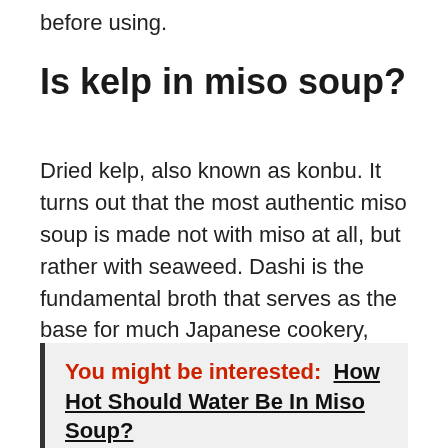before using.
Is kelp in miso soup?
Dried kelp, also known as konbu. It turns out that the most authentic miso soup is made not with miso at all, but rather with seaweed. Dashi is the fundamental broth that serves as the base for much Japanese cookery, including miso soup, as long-time fans of the cuisine are aware. To produce dashi, you submerge sheets of crackly dried kelp in cold water for a few minutes.
You might be interested: How Hot Should Water Be In Miso Soup?